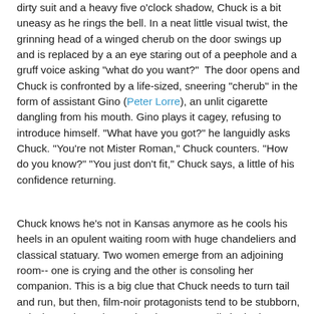dirty suit and a heavy five o'clock shadow, Chuck is a bit uneasy as he rings the bell. In a neat little visual twist, the grinning head of a winged cherub on the door swings up and is replaced by a an eye staring out of a peephole and a gruff voice asking "what do you want?"  The door opens and Chuck is confronted by a life-sized, sneering "cherub" in the form of assistant Gino (Peter Lorre), an unlit cigarette dangling from his mouth. Gino plays it cagey, refusing to introduce himself. "What have you got?" he languidly asks Chuck. "You're not Mister Roman," Chuck counters. "How do you know?" "You just don't fit," Chuck says, a little of his confidence returning.
Chuck knows he's not in Kansas anymore as he cools his heels in an opulent waiting room with huge chandeliers and classical statuary. Two women emerge from an adjoining room-- one is crying and the other is consoling her companion. This is a big clue that Chuck needs to turn tail and run, but then, film-noir protagonists tend to be stubborn, unlucky, and not always the sharpest pencils in the box. Gino introduces Chuck to the master of the house (and apparently master of lucrative schemes) Eddie Roman (Steve Cochran)